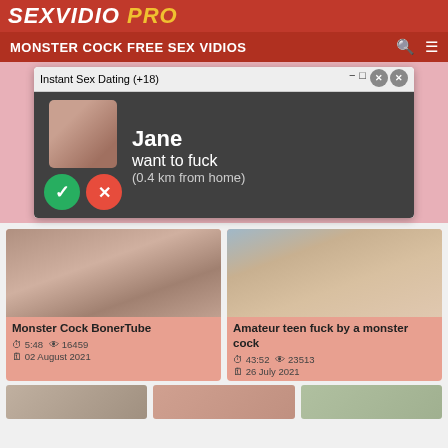SEXVIDIO.PRO
MONSTER COCK FREE SEX VIDIOS
[Figure (screenshot): Ad popup overlay showing 'Instant Sex Dating (+18)' popup window with image, Jane want to fuck (0.4 km from home), yes/no buttons]
[Figure (screenshot): Video thumbnail for Monster Cock BonerTube]
Monster Cock BonerTube
⏱ 5:48  👁 16459
🗓 02 August 2021
[Figure (screenshot): Video thumbnail for Amateur teen fuck by a monster cock]
Amateur teen fuck by a monster cock
⏱ 43:52  👁 23513
🗓 26 July 2021